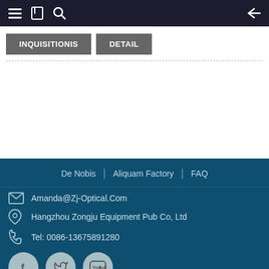Navigation bar with menu, bookmark, search icons and back arrow
INQUISITIONIS | DETAIL
De Nobis | Aliquam Factory | FAQ
Amanda@Zj-Optical.Com
Hangzhou Zongju Equipment Pub Co, Ltd
Tel: 0086-13675891280
[Figure (other): Social media icons: Facebook, Twitter, YouTube]
Copyright © - 2010-2020: All Rights Reserved.